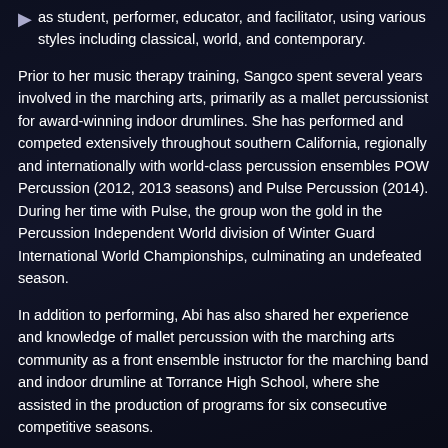as student, performer, educator, and facilitator, using various styles including classical, world, and contemporary.
Prior to her music therapy training, Sangco spent several years involved in the marching arts, primarily as a mallet percussionist for award-winning indoor drumlines. She has performed and competed extensively throughout southern California, regionally and internationally with world-class percussion ensembles POW Percussion (2012, 2013 seasons) and Pulse Percussion (2014). During her time with Pulse, the group won the gold in the Percussion Independent World division of Winter Guard International World Championships, culminating an undefeated season.
In addition to performing, Abi has also shared her experience and knowledge of mallet percussion with the marching arts community as a front ensemble instructor for the marching band and indoor drumline at Torrance High School, where she assisted in the production of programs for six consecutive competitive seasons.
Prior to her music therapy training, Sangco spent several years involved in the marching arts, primarily as a mallet percussionist for award-winning indoor drumlines. She has performed and